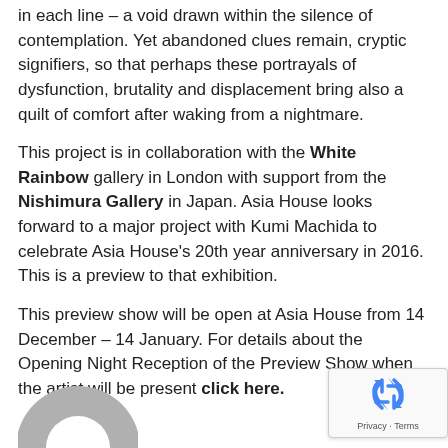in each line – a void drawn within the silence of contemplation. Yet abandoned clues remain, cryptic signifiers, so that perhaps these portrayals of dysfunction, brutality and displacement bring also a quilt of comfort after waking from a nightmare.
This project is in collaboration with the White Rainbow gallery in London with support from the Nishimura Gallery in Japan. Asia House looks forward to a major project with Kumi Machida to celebrate Asia House's 20th year anniversary in 2016. This is a preview to that exhibition.
This preview show will be open at Asia House from 14 December – 14 January. For details about the Opening Night Reception of the Preview Show when the artist will be present click here.
[Figure (illustration): Partial circular gray avatar/user icon at bottom left]
[Figure (logo): reCAPTCHA badge with recycling arrows icon and Privacy - Terms text]